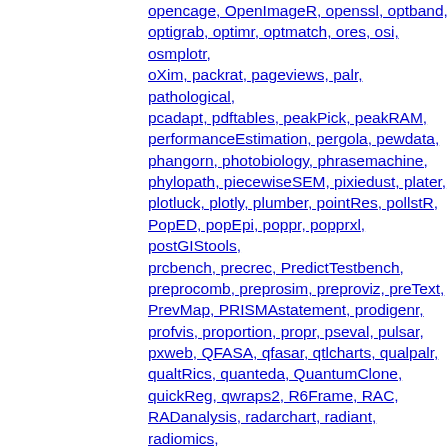opencage, OpenImageR, openssl, optband, optigrab, optimr, optmatch, ores, osi, osmplotr, oXim, packrat, pageviews, palr, pathological, pcadapt, pdftables, peakPick, peakRAM, performanceEstimation, pergola, pewdata, phangorn, photobiology, phrasemachine, phylopath, piecewiseSEM, pixiedust, plater, plotluck, plotly, plumber, pointRes, pollstR, PopED, popEpi, poppr, popprxl, postGIStools, prcbench, precrec, PredictTestbench, preprocomb, preprosim, preproviz, preText, PrevMap, PRISMAstatement, prodigenr, profvis, proportion, propr, pseval, pulsar, pxweb, QFASA, qfasar, qtlcharts, qualpalr, qualtRics, quanteda, QuantumClone, quickReg, qwraps2, R6Frame, RAC, RADanalysis, radarchart, radiant, radiomics, ragtop, Ramble, randomizr, rangeMapper, raw, rbgm, rccdates, Rcmdr, RcmdrPlugin.FuzzyClust, RcmdrPlugin.KMggplot2, RcmdrPlugin.MA, RcppParallel, Rd2roxygen, Rdice, rdomains, readr, recexcavAAR, REDCapR, rEDM, refset, rehh, remoter, rentrez, ReporteRs, represtools, rex, RFinfer, rfishbase, rfml, RGA,